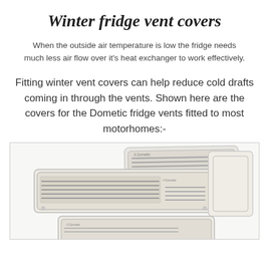Winter fridge vent covers
When the outside air temperature is low the fridge needs much less air flow over it's heat exchanger to work effectively.
Fitting winter vent covers can help reduce cold drafts coming in through the vents. Shown here are the covers for the Dometic fridge vents fitted to most motorhomes:-
[Figure (photo): Two Dometic fridge vent winter covers shown overlapping, rectangular white/cream plastic frames with horizontal louvres. A third cover partially visible at the bottom.]